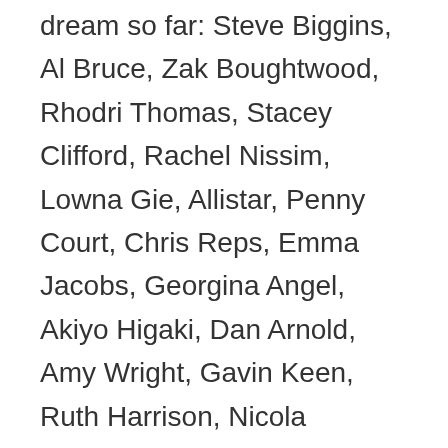dream so far: Steve Biggins, Al Bruce, Zak Boughtwood, Rhodri Thomas, Stacey Clifford, Rachel Nissim, Lowna Gie, Allistar, Penny Court, Chris Reps, Emma Jacobs, Georgina Angel, Akiyo Higaki, Dan Arnold, Amy Wright, Gavin Keen, Ruth Harrison, Nicola Suckley, Andrew Grant, Alice Ladenburg, Olivia Lucey, Natasha Herriott, Holly Penalver, Karen Hanks, Tom George, Juliane Fehlhauer, Erik Grootveld, David Lyon, Josh Portnoi, Odet Avnat, Ron Shifroni, Jon Angel, Michael Walton, Naomi Walmsley, Jonny Harris, Phoebe Howells, Gemma Argyle, Holly Anderson, Annie Goldie, Patrick Sharkey, Georgia Thompson, Richard Noden, Astrid Eriksen, Malthe Pederson, Henry Essam, Emma Berridge, Alison Mawson, Emma Featherstone, Shirani Rajapaksa, Hollie Kluczewski, Elena Gelsthorpe-Hill, Kate Munday, Daniel Kingscote, Charlie Webber, Karl Girling, Philippa Grant, Andrew Gale, Harriet Fenton, Oliva…